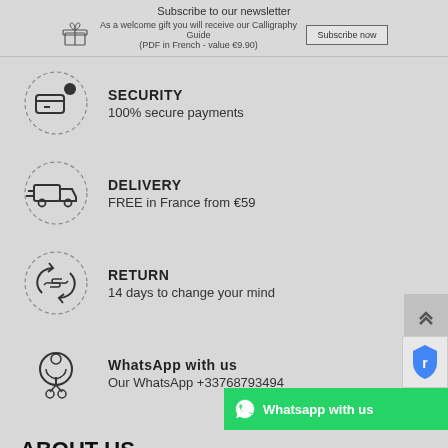Subscribe to our newsletter
As a welcome gift you will receive our Calligraphy Guide (PDF in French - value €9.90)
SECURITY
100% secure payments
DELIVERY
FREE in France from €59
RETURN
14 days to change your mind
WhatsApp with us
Our WhatsApp +33768793494
ABOUT US
The mission of Papeterie Makkura is to provide a selection of rare end stationery items that will satisfy the most disce…
WhatsApp : +33 7 68 79 34 94